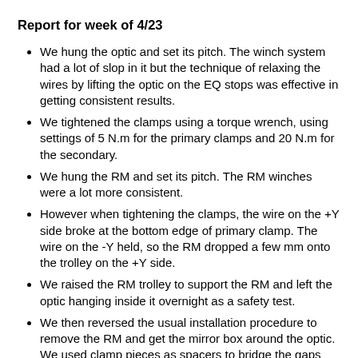Report for week of 4/23
We hung the optic and set its pitch. The winch system had a lot of slop in it but the technique of relaxing the wires by lifting the optic on the EQ stops was effective in getting consistent results.
We tightened the clamps using a torque wrench, using settings of 5 N.m for the primary clamps and 20 N.m for the secondary.
We hung the RM and set its pitch. The RM winches were a lot more consistent.
However when tightening the clamps, the wire on the +Y side broke at the bottom edge of primary clamp. The wire on the -Y held, so the RM dropped a few mm onto the trolley on the +Y side.
We raised the RM trolley to support the RM and left the optic hanging inside it overnight as a safety test.
We then reversed the usual installation procedure to remove the RM and get the mirror box around the optic. We used clamp pieces as spacers to bridge the gaps created by the fact that the optic had been raised 3 mm during hanging and could not safely be lowered. We then cut the wires, leaving the op...